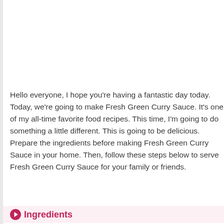Hello everyone, I hope you're having a fantastic day today. Today, we're going to make Fresh Green Curry Sauce. It's one of my all-time favorite food recipes. This time, I'm going to do something a little different. This is going to be delicious. Prepare the ingredients before making Fresh Green Curry Sauce in your home. Then, follow these steps below to serve Fresh Green Curry Sauce for your family or friends.
Ingredients